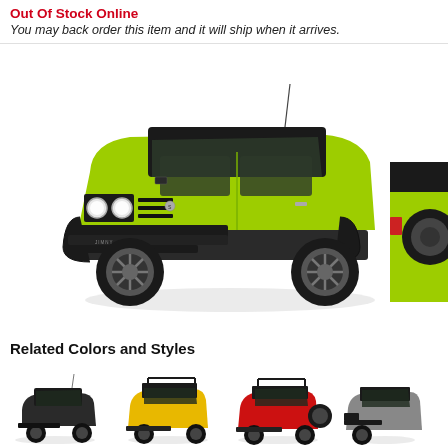Out Of Stock Online
You may back order this item and it will ship when it arrives.
[Figure (photo): Photo of a lime green Suzuki Jimny scale model RC car, front-three-quarter view on white background. Partial view of a second lime green model visible at right edge.]
Related Colors and Styles
[Figure (photo): Row of four small RC car model thumbnails: matte black Suzuki Jimny, yellow Jeep Wrangler-style, red open-top Jeep Wrangler-style, and a partial silver/grey model at the far right.]